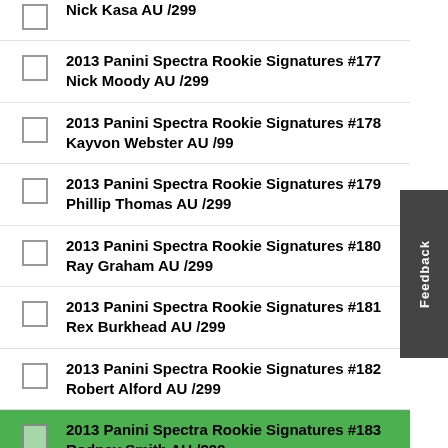Nick Kasa AU /299
2013 Panini Spectra Rookie Signatures #177 Nick Moody AU /299
2013 Panini Spectra Rookie Signatures #178 Kayvon Webster AU /99
2013 Panini Spectra Rookie Signatures #179 Phillip Thomas AU /299
2013 Panini Spectra Rookie Signatures #180 Ray Graham AU /299
2013 Panini Spectra Rookie Signatures #181 Rex Burkhead AU /299
2013 Panini Spectra Rookie Signatures #182 Robert Alford AU /299
2013 Panini Spectra Rookie Signatures #183 Rodney Smith AU /299
2013 Panini Spectra Rookie Signatures #184